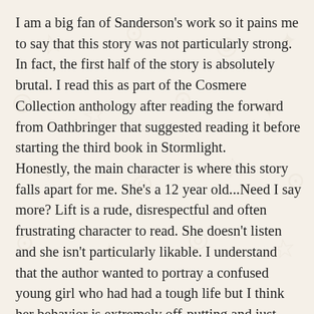I am a big fan of Sanderson's work so it pains me to say that this story was not particularly strong. In fact, the first half of the story is absolutely brutal. I read this as part of the Cosmere Collection anthology after reading the forward from Oathbringer that suggested reading it before starting the third book in Stormlight. Honestly, the main character is where this story falls apart for me. She's a 12 year old...Need I say more? Lift is a rude, disrespectful and often frustrating character to read. She doesn't listen and she isn't particularly likable. I understand that the author wanted to portray a confused young girl who had had a tough life but I think her behavior is extremely off-putting and just plain annoying at times. The story picks up towards the end and there are some interesting events with regards to the larger overall Stormlight story line but this is easily the worst Sanderson story I've read so far. That said, I would recommend reading it if you are reading the main